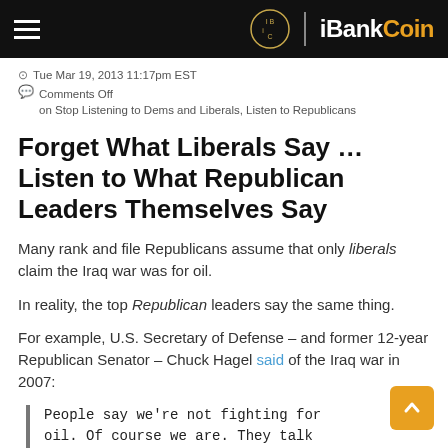iBankCoin
Tue Mar 19, 2013 11:17pm EST
Comments Off
on Stop Listening to Dems and Liberals, Listen to Republicans
Forget What Liberals Say … Listen to What Republican Leaders Themselves Say
Many rank and file Republicans assume that only liberals claim the Iraq war was for oil.
In reality, the top Republican leaders say the same thing.
For example, U.S. Secretary of Defense – and former 12-year Republican Senator – Chuck Hagel said of the Iraq war in 2007:
People say we're not fighting for oil. Of course we are. They talk about America's national…